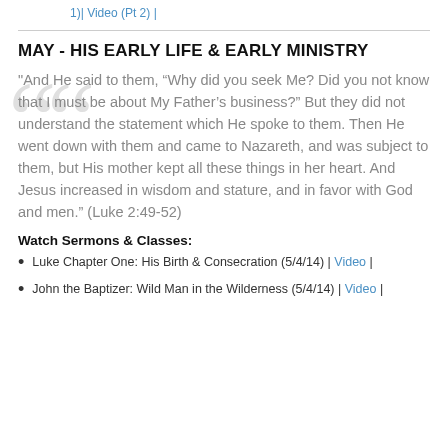Video (Pt 1) | Video (Pt 2) |
MAY - HIS EARLY LIFE & EARLY MINISTRY
"And He said to them, “Why did you seek Me? Did you not know that I must be about My Father’s business?” But they did not understand the statement which He spoke to them. Then He went down with them and came to Nazareth, and was subject to them, but His mother kept all these things in her heart. And Jesus increased in wisdom and stature, and in favor with God and men.” (Luke 2:49-52)
Watch Sermons & Classes:
Luke Chapter One: His Birth & Consecration (5/4/14) | Video |
John the Baptizer: Wild Man in the Wilderness (5/4/14) | Video |